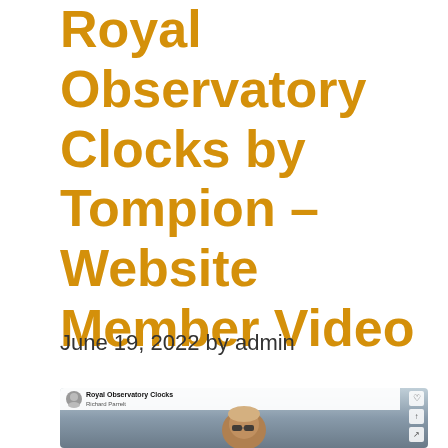Royal Observatory Clocks by Tompion – Website Member Video
June 19, 2022 by admin
[Figure (screenshot): Screenshot of a video thumbnail showing Royal Observatory Clocks channel with a man wearing sunglasses outdoors against a sky background]